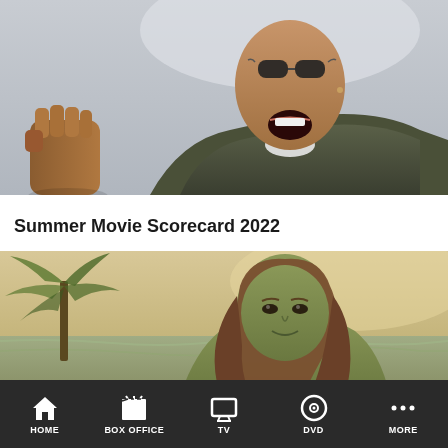[Figure (photo): Close-up of a man with sunglasses and a pilot/bomber jacket, mouth open in a triumphant expression, raising a fist. Light grey/blue sky background.]
Summer Movie Scorecard 2022
[Figure (photo): A green-skinned female character (She-Hulk) standing on a beach with a palm tree and ocean in the background. Sepia/warm toned image.]
HOME  BOX OFFICE  TV  DVD  MORE